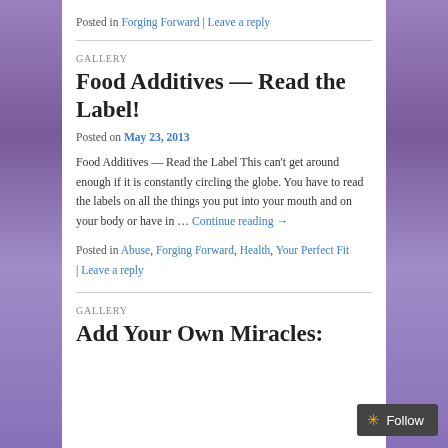Posted in Forging Forward | Leave a reply
GALLERY
Food Additives — Read the Label!
Posted on May 23, 2013
Food Additives — Read the Label This can't get around enough if it is constantly circling the globe. You have to read the labels on all the things you put into your mouth and on your body or have in … Continue reading →
Posted in Abuse, Forging Forward, Health, Your Perfect Fit | Leave a reply
GALLERY
Add Your Own Miracles: